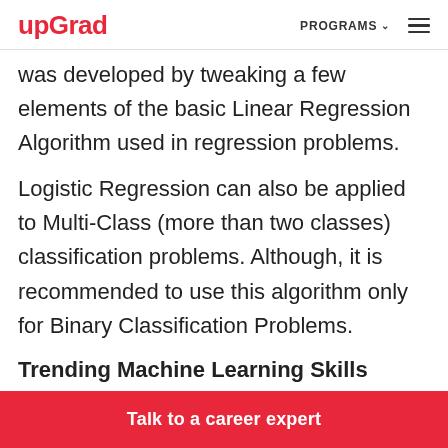upGrad | PROGRAMS ☰
was developed by tweaking a few elements of the basic Linear Regression Algorithm used in regression problems.
Logistic Regression can also be applied to Multi-Class (more than two classes) classification problems. Although, it is recommended to use this algorithm only for Binary Classification Problems.
Trending Machine Learning Skills
Talk to a career expert